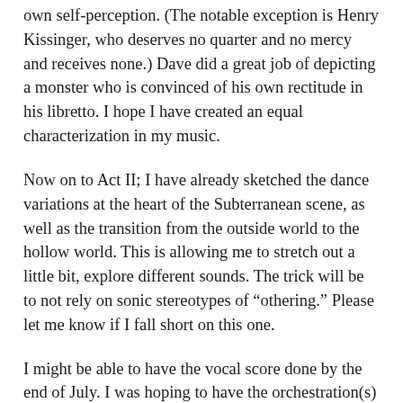own self-perception. (The notable exception is Henry Kissinger, who deserves no quarter and no mercy and receives none.) Dave did a great job of depicting a monster who is convinced of his own rectitude in his libretto. I hope I have created an equal characterization in my music.
Now on to Act II; I have already sketched the dance variations at the heart of the Subterranean scene, as well as the transition from the outside world to the hollow world. This is allowing me to stretch out a little bit, explore different sounds. The trick will be to not rely on sonic stereotypes of “othering.” Please let me know if I fall short on this one.
I might be able to have the vocal score done by the end of July. I was hoping to have the orchestration(s) completely done by then as well, but life being what it is (family